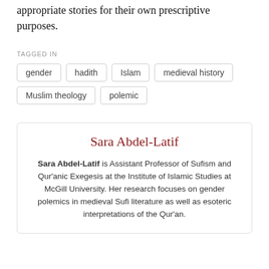appropriate stories for their own prescriptive purposes.
TAGGED IN
gender
hadith
Islam
medieval history
Muslim theology
polemic
Sara Abdel-Latif
Sara Abdel-Latif is Assistant Professor of Sufism and Qur'anic Exegesis at the Institute of Islamic Studies at McGill University. Her research focuses on gender polemics in medieval Sufi literature as well as esoteric interpretations of the Qur'an.